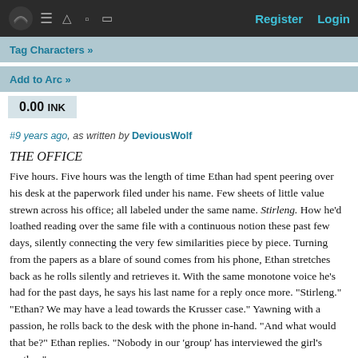Register   Login
Tag Characters »
Add to Arc »
0.00 INK
#9 years ago, as written by DeviousWolf
THE OFFICE
Five hours. Five hours was the length of time Ethan had spent peering over his desk at the paperwork filed under his name. Few sheets of little value strewn across his office; all labeled under the same name. Stirleng. How he'd loathed reading over the same file with a continuous notion these past few days, silently connecting the very few similarities piece by piece. Turning from the papers as a blare of sound comes from his phone, Ethan stretches back as he rolls silently and retrieves it. With the same monotone voice he's had for the past days, he says his last name for a reply once more. "Stirleng." "Ethan? We may have a lead towards the Krusser case." Yawning with a passion, he rolls back to the desk with the phone in-hand. "And what would that be?" Ethan replies. "Nobody in our 'group' has interviewed the girl's mother."